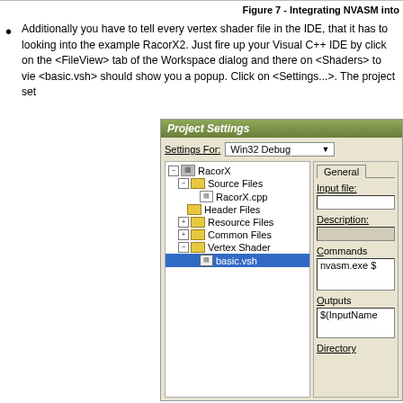Figure 7 - Integrating NVASM into
Additionally you have to tell every vertex shader file in the IDE, that it has to looking into the example RacorX2. Just fire up your Visual C++ IDE by click on the <FileView> tab of the Workspace dialog and there on <Shaders> to vie <basic.vsh> should show you a popup. Click on <Settings...>. The project set
[Figure (screenshot): Project Settings dialog showing a tree view with RacorX project, Source Files (RacorX.cpp), Header Files, Resource Files, Common Files, Vertex Shader (basic.vsh selected), and a right panel with Settings For: Win32 Debug, General tab, Input file, Description, Commands (nvasm.exe $), Outputs ($(InputName), and Directory fields.]